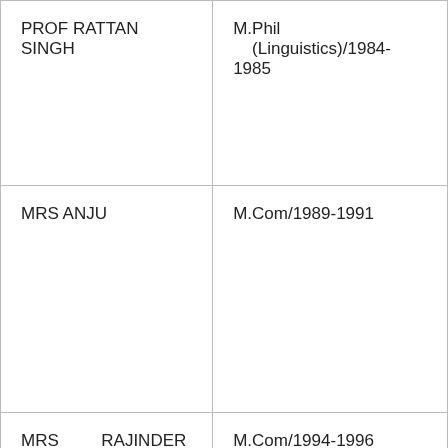| PROF RATTAN SINGH | M.Phil    (Linguistics)/1984-1985 |
| MRS ANJU | M.Com/1989-1991 |
| MRS        RAJINDER KAUR | M.Com/1994-1996 |
|  |  |